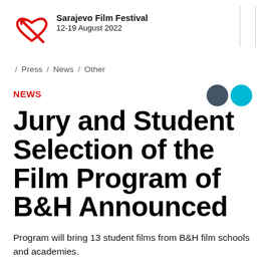[Figure (logo): Sarajevo Film Festival logo: red heart outline with an arrow, beside bold text 'Sarajevo Film Festival' and '12-19 August 2022']
/ Press / News / Other
NEWS
Jury and Student Selection of the Film Program of B&H Announced
Program will bring 13 student films from B&H film schools and academies.